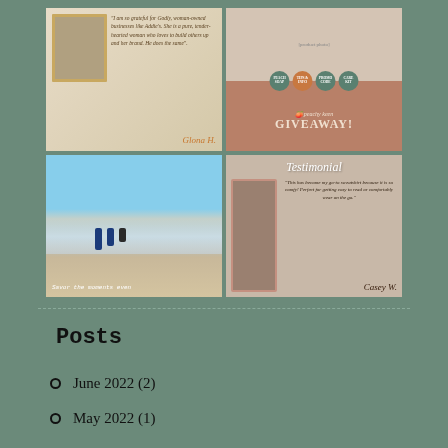[Figure (photo): 2x2 grid of social media style images: top-left shows a woman in white t-shirt with a quote by Glona H., top-right shows a peachy keen giveaway promotional image, bottom-left shows children at the beach with caption 'Savor the moments even', bottom-right shows a testimonial card with quote from Casey W. about a sweatshirt.]
Posts
June 2022 (2)
May 2022 (1)